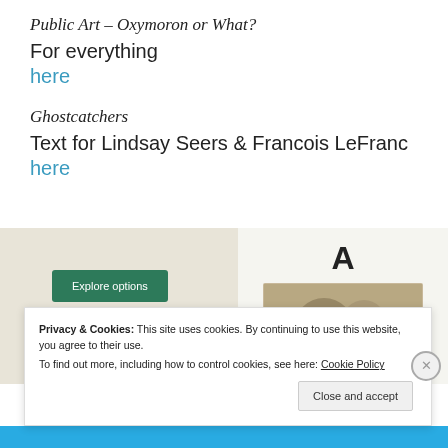Public Art – Oxymoron or What?
For everything
here
Ghostcatchers
Text for Lindsay Seers & Francois LeFranc
here
[Figure (screenshot): Advertisement screenshot showing a green 'Explore options' button on a beige background with food and app UI imagery on the right]
Privacy & Cookies: This site uses cookies. By continuing to use this website, you agree to their use.
To find out more, including how to control cookies, see here: Cookie Policy
Close and accept